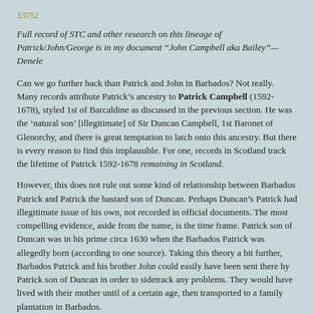33752
Full record of STC and other research on this lineage of Patrick/John/George is in my document “John Campbell aka Bailey”—Denele
Can we go further back than Patrick and John in Barbados? Not really. Many records attribute Patrick’s ancestry to Patrick Campbell (1592-1678), styled 1st of Barcaldine as discussed in the previous section. He was the ‘natural son’ [illegitimate] of Sir Duncan Campbell, 1st Baronet of Glenorchy, and there is great temptation to latch onto this ancestry. But there is every reason to find this implausible. For one, records in Scotland track the lifetime of Patrick 1592-1678 remaining in Scotland.
However, this does not rule out some kind of relationship between Barbados Patrick and Patrick the bastard son of Duncan. Perhaps Duncan’s Patrick had illegitimate issue of his own, not recorded in official documents. The most compelling evidence, aside from the name, is the time frame. Patrick son of Duncan was in his prime circa 1630 when the Barbados Patrick was allegedly born (according to one source). Taking this theory a bit further, Barbados Patrick and his brother John could easily have been sent there by Patrick son of Duncan in order to sidetrack any problems. They would have lived with their mother until of a certain age, then transported to a family plantation in Barbados.
There is nothing in the records of Virginia’s John Bailey/Bayley Campbell